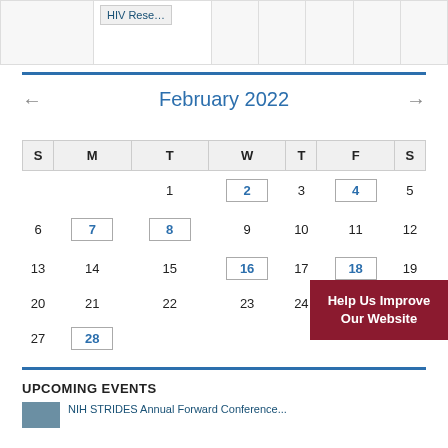|  |  |  |  |  |  |  |
| --- | --- | --- | --- | --- | --- | --- |
|  | HIV Rese… |  |  |  |  |  |
February 2022
| S | M | T | W | T | F | S |
| --- | --- | --- | --- | --- | --- | --- |
|  |  | 1 | 2 | 3 | 4 | 5 |
| 6 | 7 | 8 | 9 | 10 | 11 | 12 |
| 13 | 14 | 15 | 16 | 17 | 18 | 19 |
| 20 | 21 | 22 | 23 | 24 | 25 | 26 |
| 27 | 28 |  |  |  |  |  |
UPCOMING EVENTS
Help Us Improve Our Website